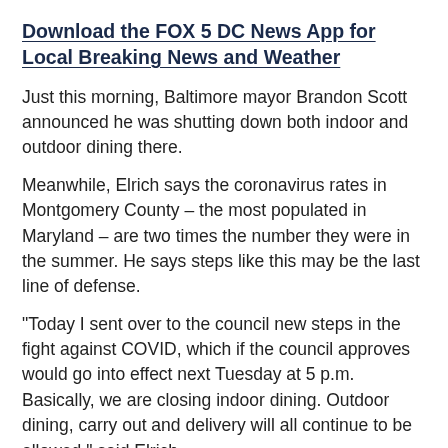Download the FOX 5 DC News App for Local Breaking News and Weather
Just this morning, Baltimore mayor Brandon Scott announced he was shutting down both indoor and outdoor dining there.
Meanwhile, Elrich says the coronavirus rates in Montgomery County – the most populated in Maryland – are two times the number they were in the summer. He says steps like this may be the last line of defense.
"Today I sent over to the council new steps in the fight against COVID, which if the council approves would go into effect next Tuesday at 5 p.m. Basically, we are closing indoor dining. Outdoor dining, carry out and delivery will all continue to be allowed," said Elrich.